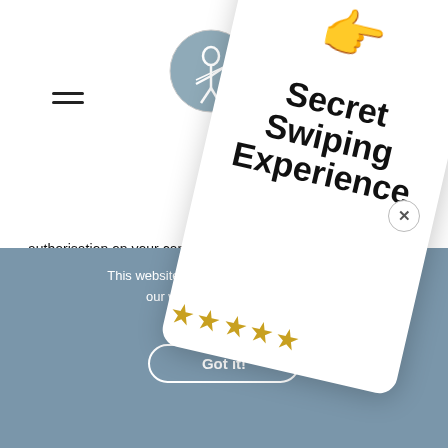[Figure (illustration): Hamburger menu icon (three horizontal lines) in top left corner]
[Figure (logo): Circular logo with archer figure, grayish-blue tones, top center of page]
authorisation on your card to available to complete the trans be made the moment your orde
If you click on "Finalise Order" y belongs to you or that you are the
This website uses cookies to e the best experience on our web
[Figure (illustration): Promotional overlay card rotated clockwise showing a pointing hand icon, text 'Secret Swiping Experience', five gold stars, and a gold progress bar at top. White card with rounded corners.]
This website uses cookies to ensure you our website. Details can be Privacy Policy
[Figure (illustration): Got it! button - rounded rectangle button with white border on teal/slate background]